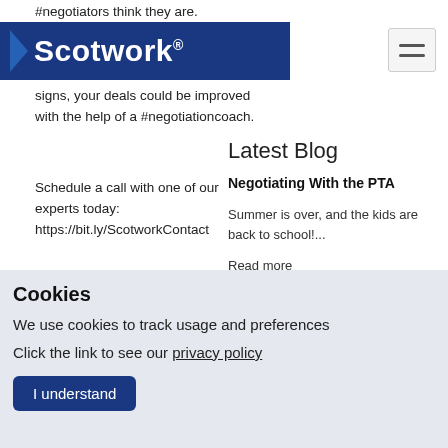#negotiators think they are.
Scotwork®
If you recognise any of these signs, your deals could be improved with the help of a #negotiationcoach.
Schedule a call with one of our experts today: https://bit.ly/ScotworkContact
Latest Blog
Negotiating With the PTA
Summer is over, and the kids are back to school!...
Read more
Cookies
We use cookies to track usage and preferences
Click the link to see our privacy policy
I understand